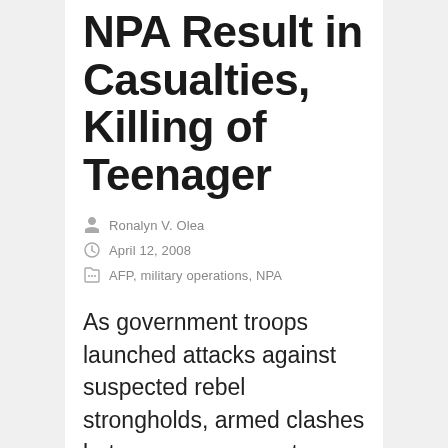NPA Result in Casualties, Killing of Teenager
Ronalyn V. Olea
April 12, 2008
AFP, military operations, NPA
As government troops launched attacks against suspected rebel strongholds, armed clashes between government troops and NPA guerillas intensified during the last three weeks, resulting in...